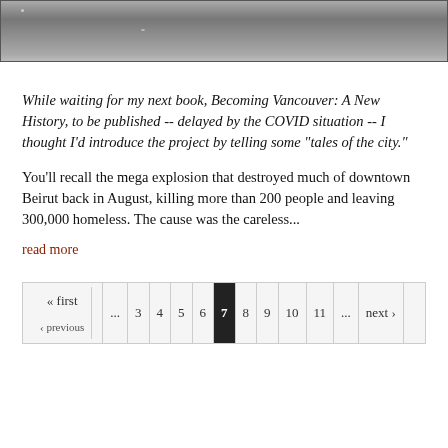[Figure (photo): Black and white photograph of water surface or landscape]
While waiting for my next book, Becoming Vancouver: A New History, to be published -- delayed by the COVID situation -- I thought I'd introduce the project by telling some "tales of the city."
You'll recall the mega explosion that destroyed much of downtown Beirut back in August, killing more than 200 people and leaving 300,000 homeless. The cause was the careless...
read more
« first ‹ previous ... 3 4 5 6 7 8 9 10 11 ... next ›